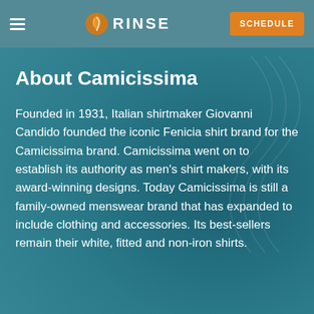RINSE — SCHEDULE
About Camicissima
Founded in 1931, Italian shirtmaker Giovanni Candido founded the iconic Fenicia shirt brand for the Camicissima brand. Camicissima went on to establish its authority as men's shirt makers, with its award-winning designs. Today Camicissima is still a family-owned menswear brand that has expanded to include clothing and accessories. Its best-sellers remain their white, fitted and non-iron shirts.